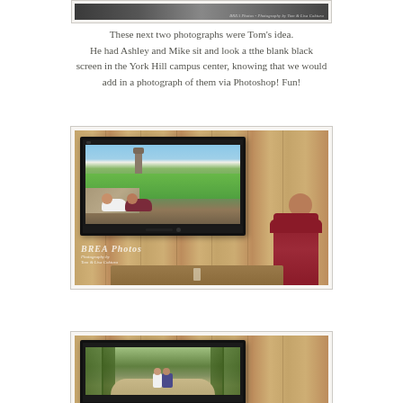[Figure (photo): Top partial photo showing a dark/gray scene, cropped at top of page with BREA Photos watermark visible]
These next two photographs were Tom's idea. He had Ashley and Mike sit and look a tthe blank black screen in the York Hill campus center, knowing that we would add in a photograph of them via Photoshop! Fun!
[Figure (photo): Photo showing couple (Ashley and Mike) sitting at a table in a wood-paneled room looking at a TV screen mounted on the wall. The TV displays a composite photo of the couple lying on a path with a clock tower and green lawn. BREA Photos watermark in bottom left corner.]
[Figure (photo): Second photo showing the same wooden-paneled room with a TV displaying a forest scene with two people standing on a path between tall trees.]